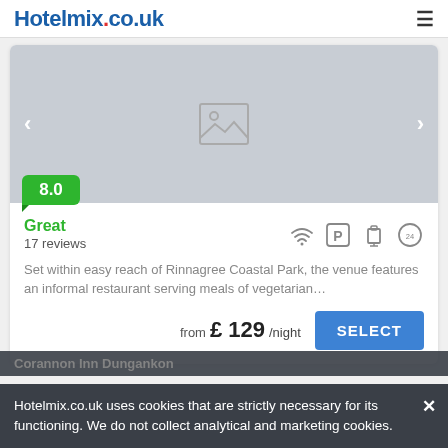Hotelmix.co.uk
[Figure (screenshot): Hotel image placeholder with navigation arrows and a grey background, showing a broken image icon in the center]
8.0
Great
17 reviews
Set within easy reach of Rinnagree Coastal Park, the venue features an informal restaurant serving meals of vegetarian…
from £ 129/night
SELECT
Corannon Inn Dungankon
Hotelmix.co.uk uses cookies that are strictly necessary for its functioning. We do not collect analytical and marketing cookies.